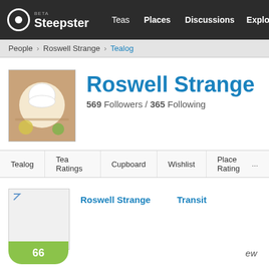Steepster BETA | Teas | Places | Discussions | Explore
People › Roswell Strange › Tealog
Roswell Strange
569 Followers / 365 Following
Tealog | Tea Ratings | Cupboard | Wishlist | Place Ratings
Roswell Strange   Transit
66
ew